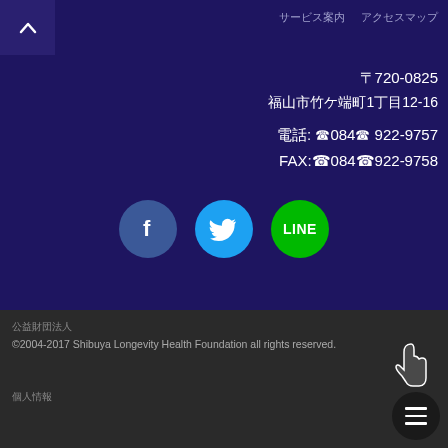[Figure (screenshot): Back navigation button with up arrow chevron on dark purple background]
サービス案内　アクセスマップ
〒720-0825
福山市竹ケ端町1丁目12-16
電話: ☎084☎ 922-9757
FAX:☎084☎922-9758
[Figure (infographic): Social media icons: Facebook (blue circle with f), Twitter (cyan circle with bird), LINE (green circle with LINE text)]
公益財団法人
©2004-2017 Shibuya Longevity Health Foundation all rights reserved.
個人情報